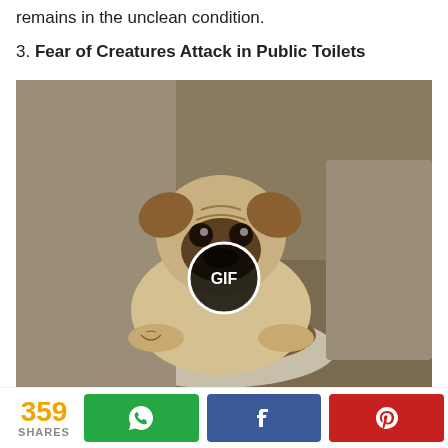remains in the unclean condition.
3. Fear of Creatures Attack in Public Toilets
[Figure (photo): A pug dog sitting inside a toilet bowl, with a GIF play button overlay in the center of the image.]
media1.giphy.com
Whenever people entered in any public toilet of Rome
359 SHARES
[Figure (logo): WhatsApp share button (green)]
[Figure (logo): Facebook share button (blue)]
[Figure (logo): Pinterest share button (red)]